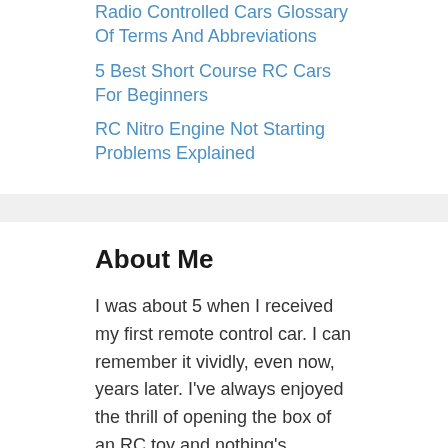Radio Controlled Cars Glossary Of Terms And Abbreviations
5 Best Short Course RC Cars For Beginners
RC Nitro Engine Not Starting Problems Explained
About Me
I was about 5 when I received my first remote control car. I can remember it vividly, even now, years later. I've always enjoyed the thrill of opening the box of an RC toy and nothing's changed. Add the Grand-kids total enjoyment into the equation and I'm in wonderland.